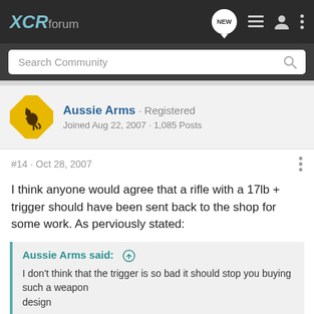XCRforum
Search Community
Aussie Arms · Registered
Joined Aug 22, 2007 · 1,085 Posts
#14 · Oct 28, 2007
I think anyone would agree that a rifle with a 17lb + trigger should have been sent back to the shop for some work. As perviously stated:
Aussie Arms said: ↑
I don't think that the trigger is so bad it should stop you buying such a weapon... designed... high end ta... at
[Figure (photo): Advertisement banner for Kel-Tec CP33 pistol with text: SEEKING LONG RANGE RELATIONSHIP THE CP33 PISTOL]